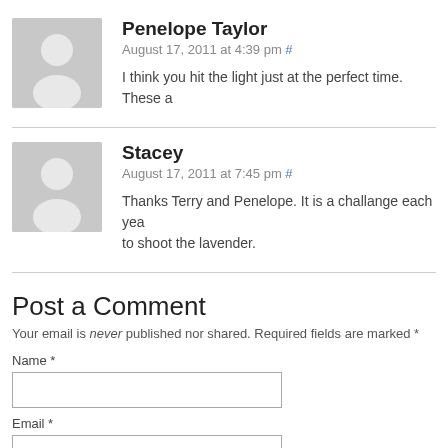Penelope Taylor
August 17, 2011 at 4:39 pm #
I think you hit the light just at the perfect time. These a
Stacey
August 17, 2011 at 7:45 pm #
Thanks Terry and Penelope. It is a challange each yea to shoot the lavender.
Post a Comment
Your email is never published nor shared. Required fields are marked *
Name *
Email *
Website